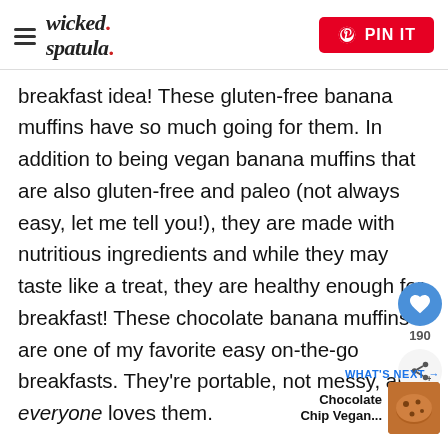wicked spatula — PIN IT
breakfast idea! These gluten-free banana muffins have so much going for them. In addition to being vegan banana muffins that are also gluten-free and paleo (not always easy, let me tell you!), they are made with nutritious ingredients and while they may taste like a treat, they are healthy enough for breakfast! These chocolate banana muffins are one of my favorite easy on-the-go breakfasts. They're portable, not messy, and everyone loves them.
I wanted these muffins to be vegan AND gluten-free/paleo so instead of the typical eggs, I used flax